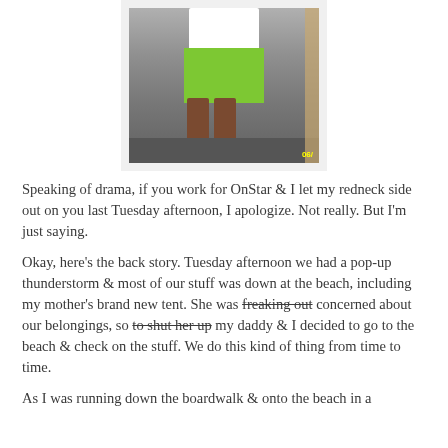[Figure (photo): Photo of a child's lower body wearing white shirt, green shorts, and bright pink/red Crocs shoes, standing on carpet near a door. Timestamp '06/' visible in yellow at bottom right.]
Speaking of drama, if you work for OnStar & I let my redneck side out on you last Tuesday afternoon, I apologize. Not really. But I'm just saying.
Okay, here's the back story. Tuesday afternoon we had a pop-up thunderstorm & most of our stuff was down at the beach, including my mother's brand new tent. She was freaking out concerned about our belongings, so to shut her up my daddy & I decided to go to the beach & check on the stuff. We do this kind of thing from time to time.
As I was running down the boardwalk & onto the beach in a